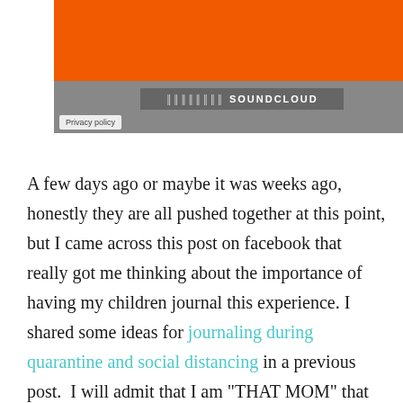[Figure (screenshot): SoundCloud embedded widget with orange top bar and SoundCloud logo on gray background, with a Privacy policy button in the lower left.]
A few days ago or maybe it was weeks ago, honestly they are all pushed together at this point, but I came across this post on facebook that really got me thinking about the importance of having my children journal this experience. I shared some ideas for journaling during quarantine and social distancing in a previous post.  I will admit that I am "THAT MOM" that takes pictures of everything and